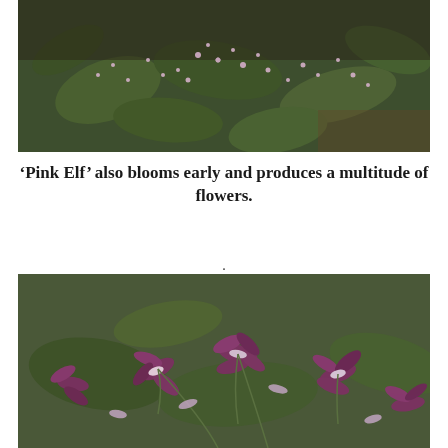[Figure (photo): Close-up photograph of Epimedium 'Pink Elf' plant with small pink star-shaped flowers among large dark green leaves, shot outdoors in a garden setting.]
‘Pink Elf’ also blooms early and produces a multitude of flowers.
.
[Figure (photo): Close-up photograph of Epimedium flowers, showing purple and white spurred blooms with dark centers on delicate stems against a green leafy background.]